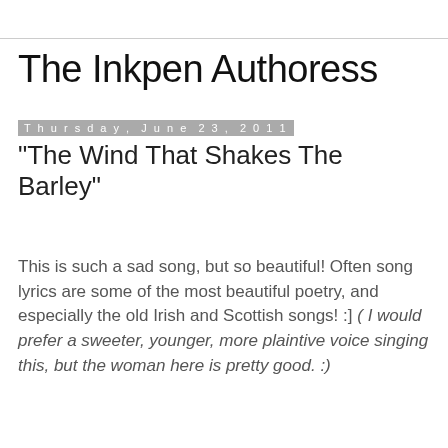The Inkpen Authoress
Thursday, June 23, 2011
"The Wind That Shakes The Barley"
This is such a sad song, but so beautiful! Often song lyrics are some of the most beautiful poetry, and especially the old Irish and Scottish songs! :] ( I would prefer a sweeter, younger, more plaintive voice singing this, but the woman here is pretty good. :)